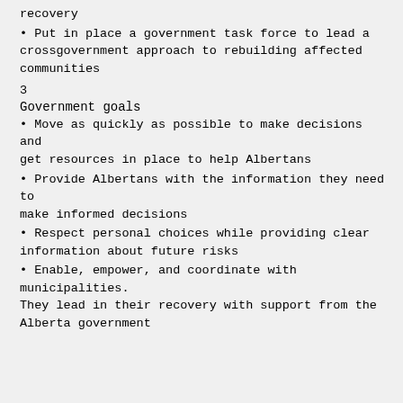recovery
• Put in place a government task force to lead a crossgovernment approach to rebuilding affected communities
3
Government goals
• Move as quickly as possible to make decisions and get resources in place to help Albertans
• Provide Albertans with the information they need to make informed decisions
• Respect personal choices while providing clear information about future risks
• Enable, empower, and coordinate with municipalities. They lead in their recovery with support from the Alberta government